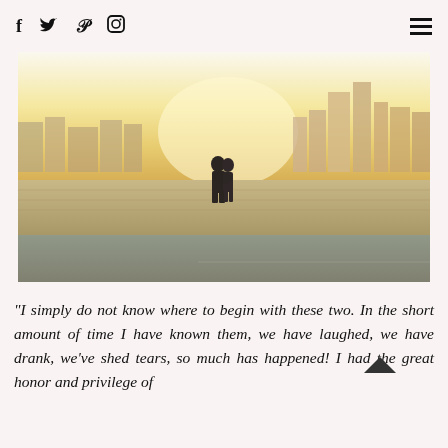Social media icons: f (Facebook), bird (Twitter), P (Pinterest), circle (Instagram), hamburger menu
[Figure (photo): A couple embracing on a rooftop parking area with a glowing city skyline behind them at golden hour/sunset]
"I simply do not know where to begin with these two. In the short amount of time I have known them, we have laughed, we have drank, we've shed tears, so much has happened! I had the great honor and privilege of